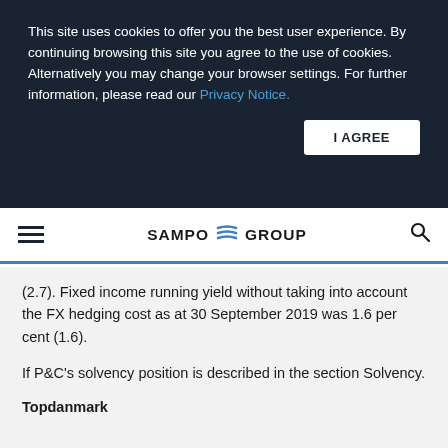This site uses cookies to offer you the best user experience. By continuing browsing this site you agree to the use of cookies. Alternatively you may change your browser settings. For further information, please read our Privacy Notice.
I AGREE
SAMPO GROUP
(2.7). Fixed income running yield without taking into account the FX hedging cost as at 30 September 2019 was 1.6 per cent (1.6).
If P&C's solvency position is described in the section Solvency.
Topdanmark